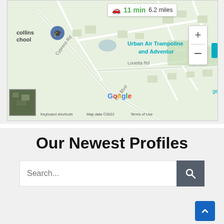[Figure (map): Google Maps showing area with Collins School, Urban Air Trampoline and Adventure, roads including Cypress Rd, Louetta Rd, Ella Blvd with driving distance overlay showing 11 min, 6.2 miles, and map controls including zoom in/out buttons. Map footer shows Keyboard shortcuts, Map data ©2022, Terms of Use.]
Our Newest Profiles
Search...